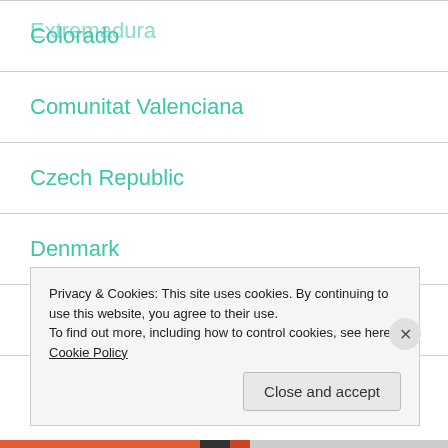Colorado
Comunitat Valenciana
Czech Republic
Denmark
Entertainment
Extremadura
Privacy & Cookies: This site uses cookies. By continuing to use this website, you agree to their use.
To find out more, including how to control cookies, see here: Cookie Policy
Close and accept